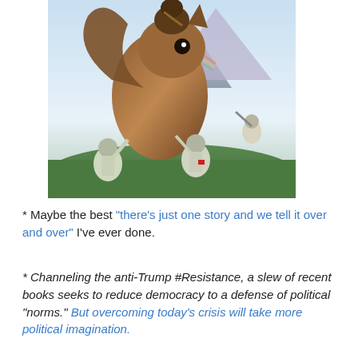[Figure (illustration): Fantasy illustration showing a giant squirrel with a Chewbacca-like creature on its back, while small soldiers in white uniforms and helmets attempt to fight or restrain it, set against a mountainous landscape background.]
* Maybe the best “there’s just one story and we tell it over and over” I’ve ever done.
* Channeling the anti-Trump #Resistance, a slew of recent books seeks to reduce democracy to a defense of political “norms.” But overcoming today’s crisis will take more political imagination.